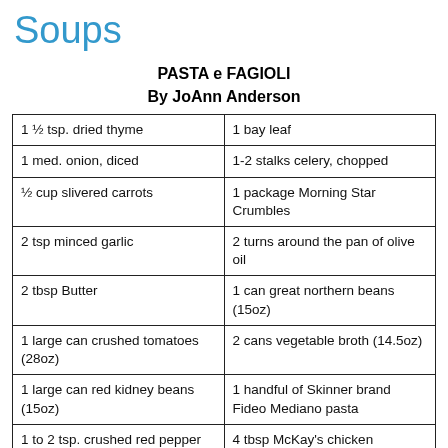Soups
PASTA e FAGIOLI
By JoAnn Anderson
| 1 ½ tsp. dried thyme | 1 bay leaf |
| 1 med. onion, diced | 1-2 stalks celery, chopped |
| ½ cup slivered carrots | 1 package Morning Star Crumbles |
| 2 tsp minced garlic | 2 turns around the pan of olive oil |
| 2 tbsp Butter | 1 can great northern beans (15oz) |
| 1 large can crushed tomatoes (28oz) | 2 cans vegetable broth (14.5oz) |
| 1 large can red kidney beans (15oz) | 1 handful of Skinner brand Fideo Mediano pasta |
| 1 to 2 tsp. crushed red pepper | 4 tbsp McKay's chicken |